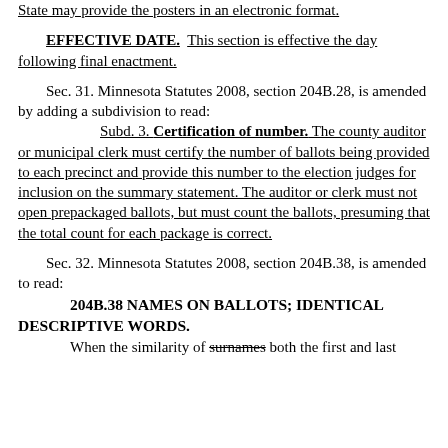State may provide the posters in an electronic format.
EFFECTIVE DATE. This section is effective the day following final enactment.
Sec. 31. Minnesota Statutes 2008, section 204B.28, is amended by adding a subdivision to read:
Subd. 3. Certification of number. The county auditor or municipal clerk must certify the number of ballots being provided to each precinct and provide this number to the election judges for inclusion on the summary statement. The auditor or clerk must not open prepackaged ballots, but must count the ballots, presuming that the total count for each package is correct.
Sec. 32. Minnesota Statutes 2008, section 204B.38, is amended to read:
204B.38 NAMES ON BALLOTS; IDENTICAL DESCRIPTIVE WORDS.
When the similarity of surnames both the first and last